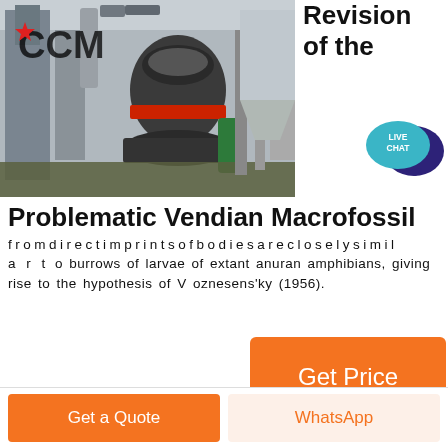[Figure (photo): Industrial machine (mill/grinder) inside a factory building with CCM logo overlay on the photo]
Revision of the
[Figure (illustration): LIVE CHAT speech bubble icon in teal and dark blue]
Problematic Vendian Macrofossil
fromdirectimprintsofbodiesarecloselysimilarto burrows of larvae of extant anuran amphibians, giving rise to the hypothesis of V oznesens'ky (1956).
[Figure (other): Get Price orange button]
Get a Quote
WhatsApp